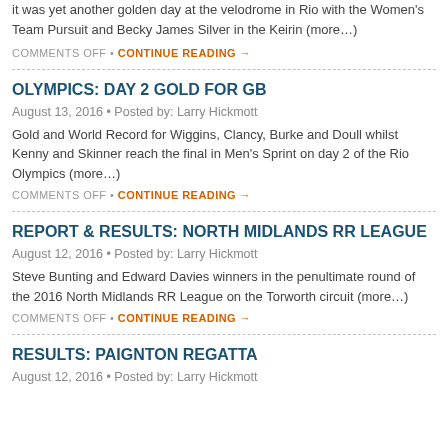it was yet another golden day at the velodrome in Rio with the Women's Team Pursuit and Becky James Silver in the Keirin (more…)
COMMENTS OFF • CONTINUE READING →
OLYMPICS: DAY 2 GOLD FOR GB
August 13, 2016 • Posted by: Larry Hickmott
Gold and World Record for Wiggins, Clancy, Burke and Doull whilst Kenny and Skinner reach the final in Men's Sprint on day 2 of the Rio Olympics (more…)
COMMENTS OFF • CONTINUE READING →
REPORT & RESULTS: NORTH MIDLANDS RR LEAGUE
August 12, 2016 • Posted by: Larry Hickmott
Steve Bunting and Edward Davies winners in the penultimate round of the 2016 North Midlands RR League on the Torworth circuit (more…)
COMMENTS OFF • CONTINUE READING →
RESULTS: PAIGNTON REGATTA
August 12, 2016 • Posted by: Larry Hickmott